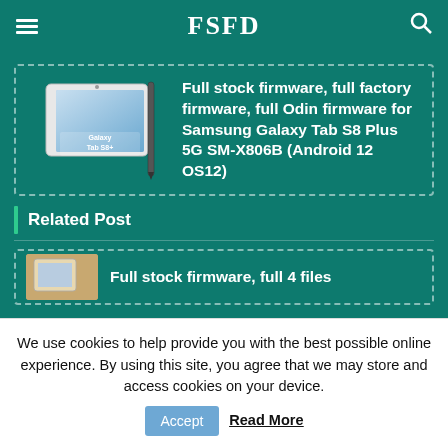FSFD
[Figure (screenshot): Samsung Galaxy Tab S8+ tablet device image with text 'Galaxy Tab S8+' overlaid]
Full stock firmware, full factory firmware, full Odin firmware for Samsung Galaxy Tab S8 Plus 5G SM-X806B (Android 12 OS12)
Related Post
Full stock firmware, full 4 files
We use cookies to help provide you with the best possible online experience. By using this site, you agree that we may store and access cookies on your device.